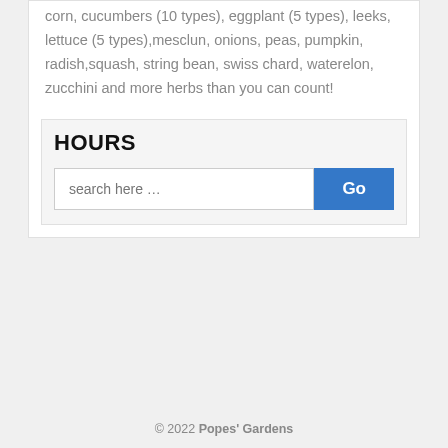corn, cucumbers (10 types), eggplant (5 types), leeks,  lettuce (5 types),mesclun, onions, peas, pumpkin, radish,squash, string bean, swiss chard, waterelon, zucchini and more herbs than you can count!
HOURS
search here …
© 2022 Popes' Gardens